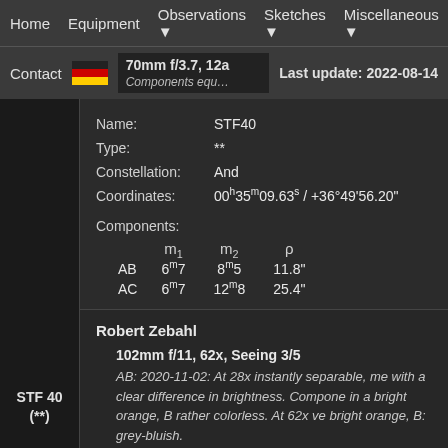Home  Equipment  Observations ▼  Sketches ▼  Miscellaneous ▼
Contact  [flag]  70mm f/3.7, 12a  Components equ...  Last update: 2022-08-14
Name: STF40
Type: **
Constellation: And
Coordinates: 00h35m09.63s / +36°49'56.20"
Components:
|  | m1 | m2 | ρ |
| --- | --- | --- | --- |
| AB | 6m7 | 8m5 | 11.8" |
| AC | 6m7 | 12m8 | 25.4" |
STF 40
(**)
Robert Zebahl
102mm f/11, 62x, Seeing 3/5
AB: 2020-11-02: At 28x instantly separable, me with a clear difference in brightness. Compone in a bright orange, B rather colorless. At 62x ve bright orange, B: grey-bluish.
René Merting